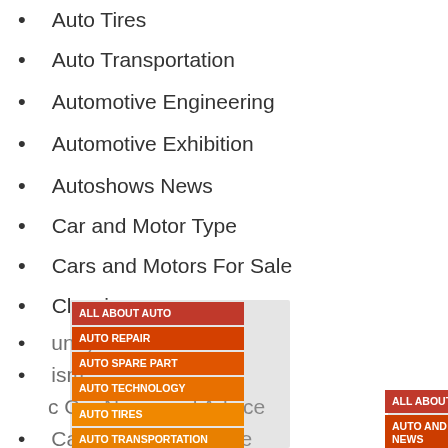Auto Tires
Auto Transportation
Automotive Engineering
Automotive Exhibition
Autoshows News
Car and Motor Type
Cars and Motors For Sale
Classic
[Figure (infographic): Overlapping tag/label panels with automotive category names in orange and red gradients, including ALL ABOUT AUTO, AUTO REPAIR, AUTO SPARE PART, AUTO TECHNOLOGY, AUTO TIRES, AUTO TRANSPORTATION, AUTOMOTIVE ENGINEERING, AUTO AND MOTOR INDUSTRY NEWS, AUTOMOTIV E ENGINEERI NG, AUTOMOTIV E]